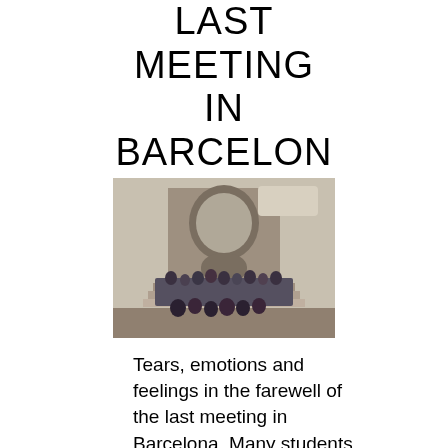LAST MEETING IN BARCELONA - JANUARY 2019
[Figure (photo): Group photo of students standing in front of a large Gothic cathedral or church entrance in Barcelona]
Tears, emotions and feelings in the farewell of the last meeting in Barcelona. Many students from all the schools participants could not avoid...